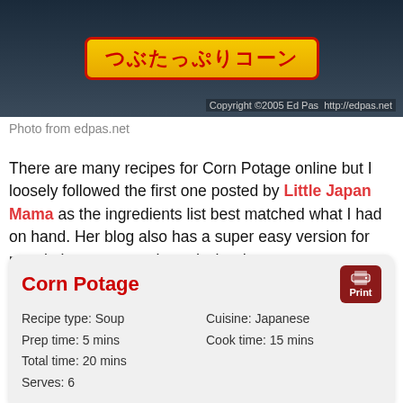[Figure (photo): Photo of a Japanese canned corn potage product showing Japanese text つぶたっぷりコーン on yellow/red label, photographed against dark background. Copyright 2005 Ed Pas http://edpas.net]
Photo from edpas.net
There are many recipes for Corn Potage online but I loosely followed the first one posted by Little Japan Mama as the ingredients list best matched what I had on hand. Her blog also has a super easy version for people in a super rush, and who do not own a Thermomix. My soup came out nicely and while not as highly flavoured as a can of Corn Potage, it was sufficiently creamy and tasted of corn. What more could I ask for?
| Recipe type: Soup | Cuisine: Japanese |
| Prep time: 5 mins | Cook time: 15 mins |
| Total time: 20 mins |  |
| Serves: 6 |  |